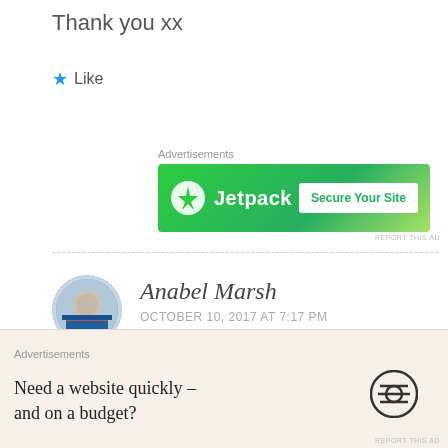Thank you xx
★ Like
Advertisements
[Figure (other): Jetpack advertisement banner with green background, Jetpack logo on left and 'Secure Your Site' button on right]
REPORT THIS AD
Anabel Marsh
OCTOBER 10, 2017 AT 7:17 PM
I love that dish! I've been enlarging your picture to see what childhood china designs I recognise – at
Advertisements
[Figure (other): WordPress advertisement: 'Need a website quickly – and on a budget?' with WordPress logo]
REPORT THIS AD